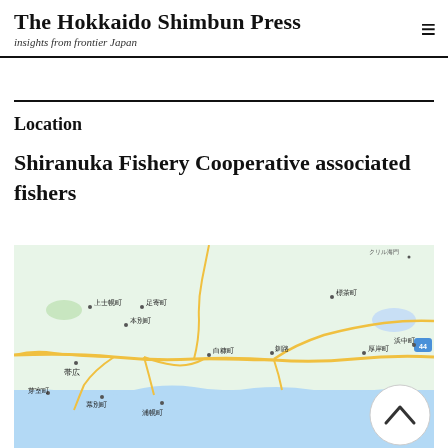The Hokkaido Shimbun Press – insights from frontier Japan
Location
Shiranuka Fishery Cooperative associated fishers
[Figure (map): Google Maps view of eastern Hokkaido, Japan, showing towns including 上士幌町, 足寄町, 本別町, 白糠町, 帯広, 釧路, 標茶町, 厚岸町, 浜中町, 芽室町, 幕別町, 浦幌町, with route 44 marked, coastal area visible in light blue at bottom.]